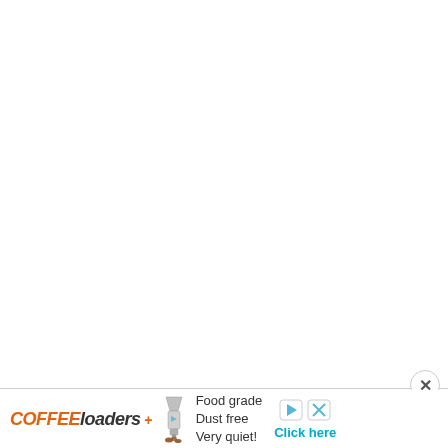[Figure (other): White blank area — main page content area, mostly empty white space]
[Figure (logo): COFFEELOADERS+ logo with coffee grinder icon, orange and dark text. Advertisement banner at the bottom of the page with text: Food grade, Dust free, Very quiet! and a Click here button.]